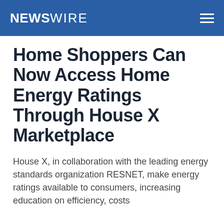NEWSWIRE
Home Shoppers Can Now Access Home Energy Ratings Through House X Marketplace
House X, in collaboration with the leading energy standards organization RESNET, make energy ratings available to consumers, increasing education on efficiency, costs